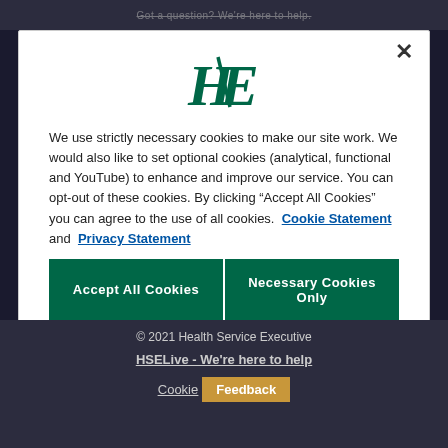Got a question? We're here to help.
[Figure (logo): HSE (Health Service Executive) logo in dark green italic stylized letters]
We use strictly necessary cookies to make our site work. We would also like to set optional cookies (analytical, functional and YouTube) to enhance and improve our service. You can opt-out of these cookies. By clicking “Accept All Cookies” you can agree to the use of all cookies. Cookie Statement and Privacy Statement
Accept All Cookies
Necessary Cookies Only
Manage Cookies
© 2021 Health Service Executive
HSELive - We're here to help
Cookie  Feedback